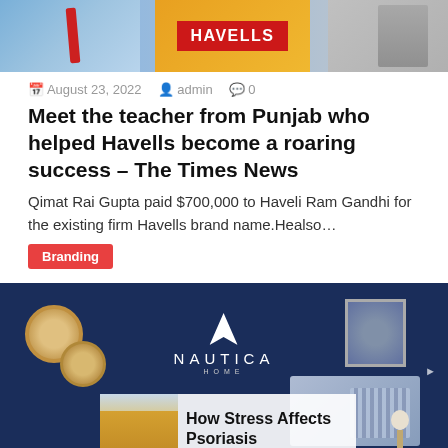[Figure (photo): Top banner image showing Havells advertisement with people in shirts on the left and a red HAVELLS branded box in the center, grayscale image on the right]
August 23, 2022  admin  0
Meet the teacher from Punjab who helped Havells become a roaring success – The Times News
Qimat Rai Gupta paid $700,000 to Haveli Ram Gandhi for the existing firm Havells brand name.Healso…
Branding
[Figure (photo): Nautica Home advertisement showing a dark navy blue bedroom setting with decorative mirrors, framed art, and striped pillows. Overlaid with a smaller card showing 'How Stress Affects Psoriasis' from HealthCentral.com with a woman in a yellow sweater.]